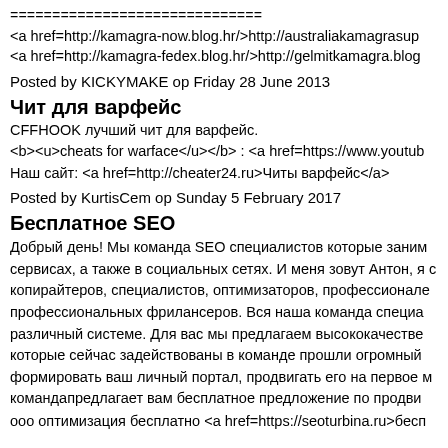==============================
<a href=http://kamagra-now.blog.hr/>http://australiakamagrasup
<a href=http://kamagra-fedex.blog.hr/>http://gelmitkamagra.blog
Posted by KICKYMAKE op Friday 28 June 2013
Чит для варфейс
CFFHOOK лучший чит для варфейс.
<b><u>cheats for warface</u></b> : <a href=https://www.youtub
Наш сайт: <a href=http://cheater24.ru>Читы варфейс</a>
Posted by KurtisCem op Sunday 5 February 2017
Бесплатное SEO
Добрый день! Мы команда SEO специалистов которые заним сервисах, а также в социальных сетях. И меня зовут Антон, я с копирайтеров, специалистов, оптимизаторов, профессионале профессиональных фрилансеров. Вся наша команда специа различный системе. Для вас мы предлагаем высококачестве которые сейчас задействованы в команде прошли огромный формировать ваш личный портал, продвигать его на первое м командапредлагает вам бесплатное предложение по продви
ооо оптимизация бесплатно <a href=https://seoturbina.ru>бесп